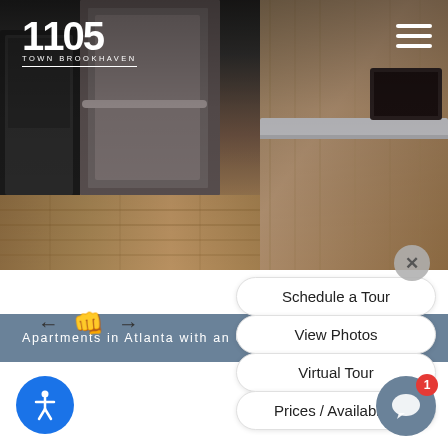[Figure (screenshot): Apartment kitchen interior photo showing stainless steel appliances, oven, hardwood floor, and island counter. Navigation buttons overlay the bottom right.]
1105 TOWN BROOKHAVEN
Schedule a Tour
View Photos
Virtual Tour
Prices / Availability
Apartments in Atlanta with an Unbeatable Location